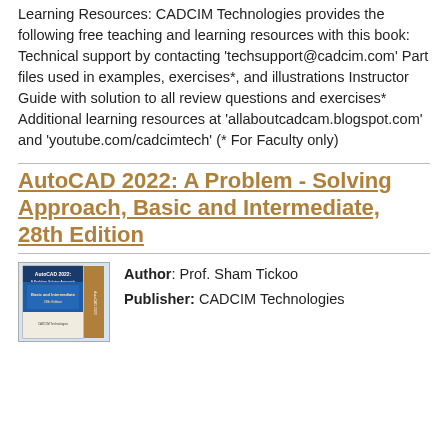Learning Resources: CADCIM Technologies provides the following free teaching and learning resources with this book: Technical support by contacting 'techsupport@cadcim.com' Part files used in examples, exercises*, and illustrations Instructor Guide with solution to all review questions and exercises* Additional learning resources at 'allaboutcadcam.blogspot.com' and 'youtube.com/cadcimtech' (* For Faculty only)
AutoCAD 2022: A Problem - Solving Approach, Basic and Intermediate, 28th Edition
[Figure (photo): Book cover image of AutoCAD 2022: A Problem-Solving Approach, Basic and Intermediate, 28th Edition]
Author: Prof. Sham Tickoo
Publisher: CADCIM Technologies